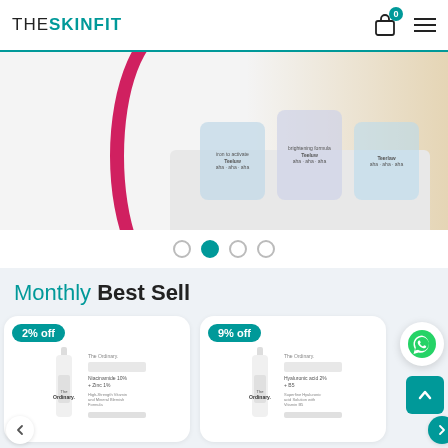THESKINFIT
[Figure (photo): Carousel banner showing three skincare jars/bottles (Teelan products) on a white stepped platform with a red arc decoration and beige background]
[Figure (other): Carousel navigation dots — 4 dots, second one active (teal)]
Monthly Best Sell
[Figure (photo): Product card with '2% off' badge showing The Ordinary serum bottle and box]
[Figure (photo): Product card with '9% off' badge showing The Ordinary serum bottle and box]
[Figure (other): WhatsApp contact button (green circle with phone icon)]
[Figure (other): Scroll to top button (teal square with up arrow)]